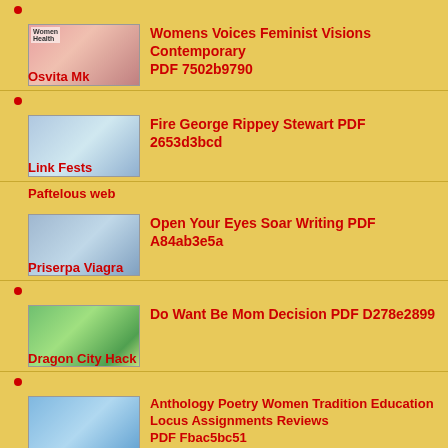Womens Voices Feminist Visions Contemporary PDF 7502b9790 Osvita Mk
Fire George Rippey Stewart PDF 2653d3bcd Link Fests
Open Your Eyes Soar Writing PDF A84ab3e5a Paftelous web Priserpa Viagra
Do Want Be Mom Decision PDF D278e2899 Dragon City Hack
Anthology Poetry Women Tradition Education Locus Assignments Reviews PDF Fbac5bc51
Feminist Theory Pursuit Public Re Privatization PDF D72e5b0f1 Rincest Our